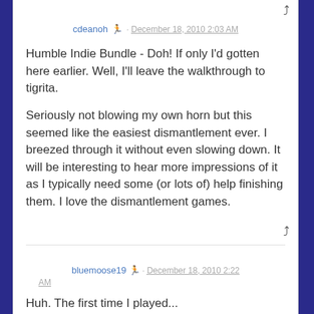↩ (reply arrow top right)
cdeanoh 🏃 · December 18, 2010 2:03 AM
Humble Indie Bundle - Doh! If only I'd gotten here earlier. Well, I'll leave the walkthrough to tigrita.

Seriously not blowing my own horn but this seemed like the easiest dismantlement ever. I breezed through it without even slowing down. It will be interesting to hear more impressions of it as I typically need some (or lots of) help finishing them. I love the dismantlement games.
↩ (reply arrow bottom right)
bluemoose19 🏃 · December 18, 2010 2:22 AM
Huh. The first time I played...